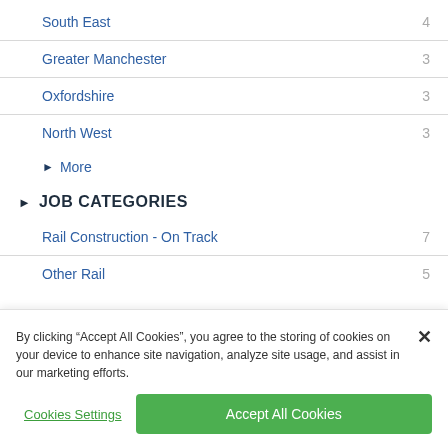South East 4
Greater Manchester 3
Oxfordshire 3
North West 3
More
JOB CATEGORIES
Rail Construction - On Track 7
Other Rail 5
By clicking “Accept All Cookies”, you agree to the storing of cookies on your device to enhance site navigation, analyze site usage, and assist in our marketing efforts.
Cookies Settings
Accept All Cookies